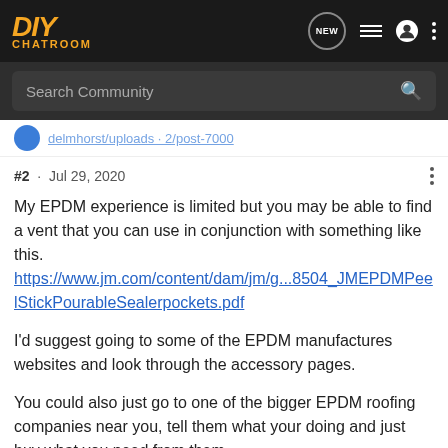DIY CHATROOM
Search Community
#2 · Jul 29, 2020
My EPDM experience is limited but you may be able to find a vent that you can use in conjunction with something like this. https://www.jm.com/content/dam/jm/g...8504_JMEPDMPeelStickPourableSealerpockets.pdf
I'd suggest going to some of the EPDM manufactures websites and look through the accessory pages.
You could also just go to one of the bigger EPDM roofing companies near you, tell them what your doing and just buy what you need from them.